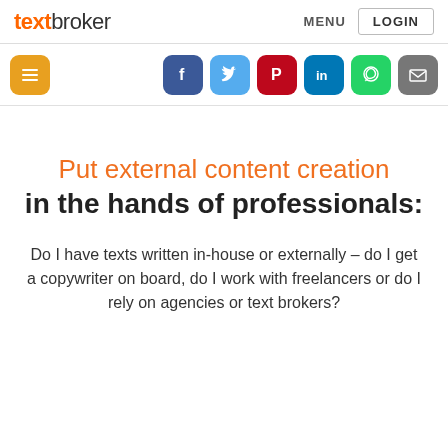textbroker  MENU  LOGIN
[Figure (screenshot): Social sharing icon bar with list icon (orange), Facebook (blue), Twitter (light blue), Pinterest (red), LinkedIn (dark blue), WhatsApp (green), email (grey)]
Put external content creation in the hands of professionals:
Do I have texts written in-house or externally – do I get a copywriter on board, do I work with freelancers or do I rely on agencies or text brokers?